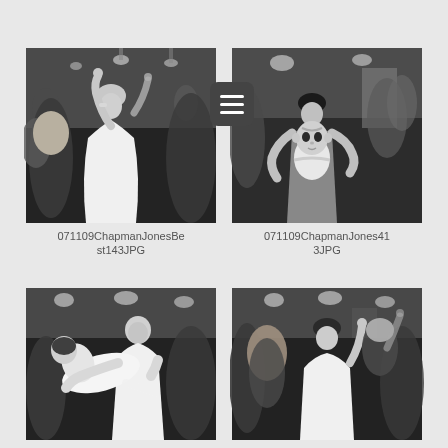[Figure (photo): Black and white wedding photo showing bride in white dress dancing with arms raised at a party, surrounded by guests]
071109ChapmanJonesBest143JPG
[Figure (photo): Black and white wedding photo showing a woman holding a baby/toddler in white outfit, surrounded by wedding guests]
071109ChapmanJones413JPG
[Figure (photo): Black and white wedding photo showing a man in white shirt lifting a woman in a white dress at a dance reception]
[Figure (photo): Black and white wedding photo showing the bride dancing with arms raised surrounded by guests at the wedding reception]